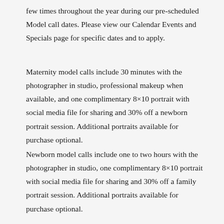few times throughout the year during our pre-scheduled Model call dates. Please view our Calendar Events and Specials page for specific dates and to apply.
Maternity model calls include 30 minutes with the photographer in studio, professional makeup when available, and one complimentary 8×10 portrait with social media file for sharing and 30% off a newborn portrait session. Additional portraits available for purchase optional.
Newborn model calls include one to two hours with the photographer in studio, one complimentary 8×10 portrait with social media file for sharing and 30% off a family portrait session. Additional portraits available for purchase optional.